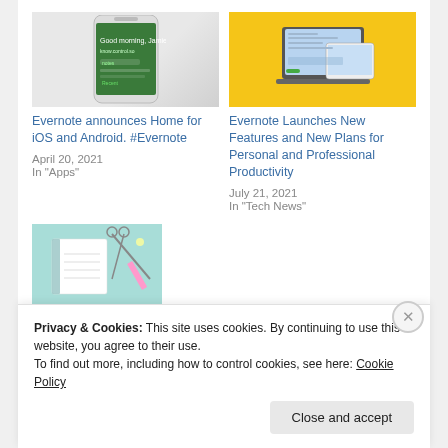[Figure (screenshot): Smartphone screenshot showing Evernote Home screen with green background, 'Good morning, Jamie!' greeting]
Evernote announces Home for iOS and Android. #Evernote
April 20, 2021
In "Apps"
[Figure (screenshot): Evernote app on laptop and tablet with yellow background showing new features]
Evernote Launches New Features and New Plans for Personal and Professional Productivity
July 21, 2021
In "Tech News"
[Figure (photo): Stationery and notebooks on a light blue background]
Privacy & Cookies: This site uses cookies. By continuing to use this website, you agree to their use.
To find out more, including how to control cookies, see here: Cookie Policy